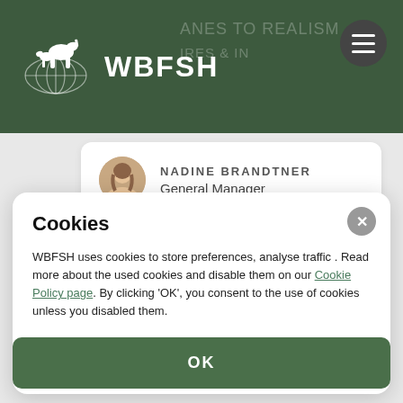WBFSH
NADINE BRANDTNER
General Manager
[Figure (photo): Dark blue background with white horse and foal silhouette logo]
Cookies
WBFSH uses cookies to store preferences, analyse traffic . Read more about the used cookies and disable them on our Cookie Policy page. By clicking 'OK', you consent to the use of cookies unless you disabled them.
OK